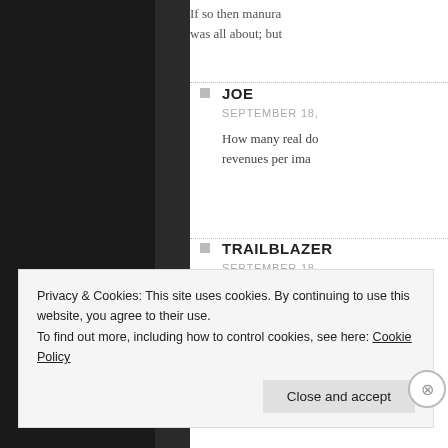If so then manura... was all about; but...
JOE
SEPTEMBER 18,
How many real do... revenues per ima...
TRAILBLAZER
SEPTEMBER 18,
Over $10,000.per... na... th... ON...
Privacy & Cookies: This site uses cookies. By continuing to use this website, you agree to their use.
To find out more, including how to control cookies, see here: Cookie Policy
Close and accept